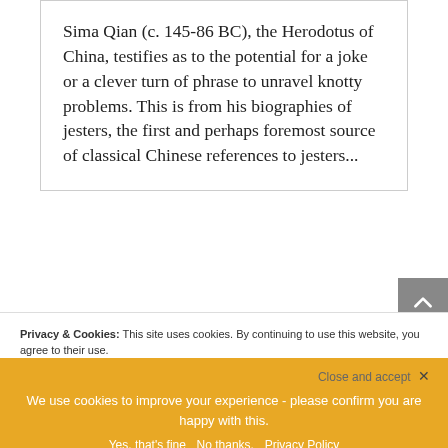Sima Qian (c. 145-86 BC), the Herodotus of China, testifies as to the potential for a joke or a clever turn of phrase to unravel knotty problems. This is from his biographies of jesters, the first and perhaps foremost source of classical Chinese references to jesters...
Privacy & Cookies: This site uses cookies. By continuing to use this website, you agree to their use.
To find out more, including how to control cookies, see here: Cookie Policy
We use cookies to improve your experience - please confirm you are happy with this.
Close and accept ×
Yes, that's fine   No thanks.   Privacy Policy